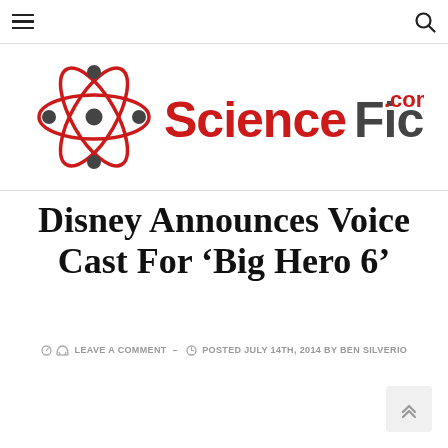☰  🔍
[Figure (logo): ScienceFiction.com logo with atom/orbit graphic in red and dark grey text]
Disney Announces Voice Cast For 'Big Hero 6'
LEAVE A COMMENT – POSTED JULY 14TH, 2014 BY BEN SILVERIO